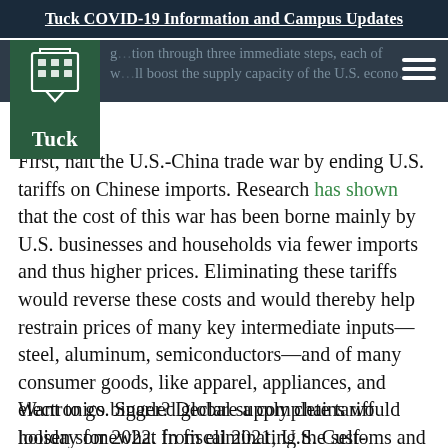Tuck COVID-19 Information and Campus Updates
g…tion through three immediate steps, each of w…ll boost the supply capacity of the U.S. econo…
First, halt the U.S.-China trade war by ending U.S. tariffs on Chinese imports. Research has shown that the cost of this war has been borne mainly by U.S. businesses and households via fewer imports and thus higher prices. Eliminating these tariffs would reverse these costs and would thereby help restrain prices of many key intermediate inputs—steel, aluminum, semiconductors—and of many consumer goods, like apparel, appliances, and electronics. Snarled global supply chains would loosen somewhat from eliminating the self-imposed kinks of this futile war.
Want to go bigger? Declare a complete tariff holiday for 2022. In fiscal 2021, U.S. Customs and Border Protection